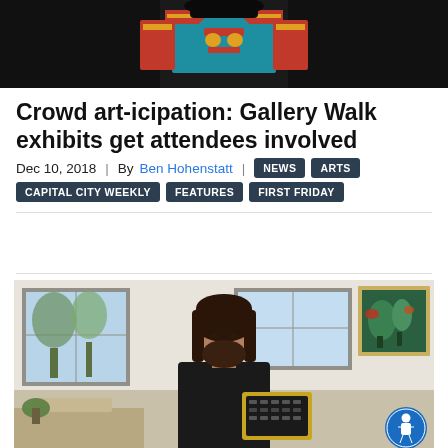[Figure (photo): Top photo showing a person in colorful indigenous art costume/regalia against a dark background]
Crowd art-icipation: Gallery Walk exhibits get attendees involved
Dec 10, 2018 | By Ben Hohenstatt | NEWS ARTS CAPITAL CITY WEEKLY FEATURES FIRST FRIDAY
[Figure (photo): A bearded man in a black sweater holding a gold-framed electronic device/instrument in a bright office room with windows and a colorful painting on the wall. An accessibility button icon is visible in the bottom right corner.]